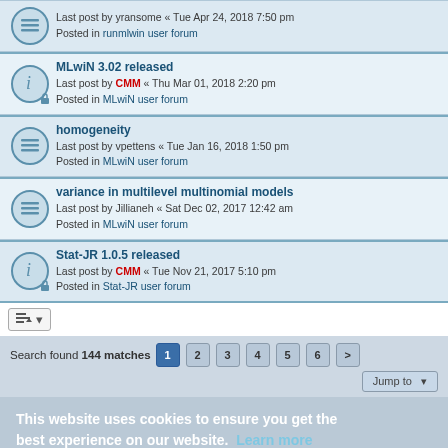MLwiN 3.02 released — Last post by CMM « Thu Mar 01, 2018 2:20 pm — Posted in MLwiN user forum
homogeneity — Last post by vpettens « Tue Jan 16, 2018 1:50 pm — Posted in MLwiN user forum
variance in multilevel multinomial models — Last post by Jillianeh « Sat Dec 02, 2017 12:42 am — Posted in MLwiN user forum
Stat-JR 1.0.5 released — Last post by CMM « Tue Nov 21, 2017 5:10 pm — Posted in Stat-JR user forum
Search found 144 matches  1 2 3 4 5 6 >
This website uses cookies to ensure you get the best experience on our website. Learn more
Got it!
Board index   Delete cookies   All times are UTC
Powered by phpBB® Forum Software © phpBB Limited  Privacy | Terms